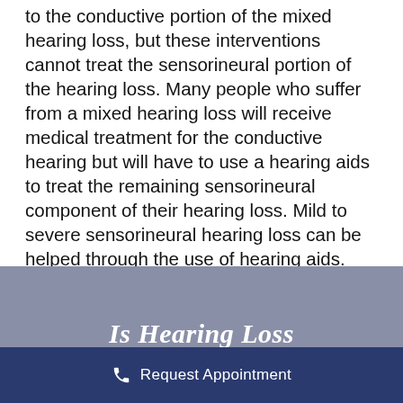to the conductive portion of the mixed hearing loss, but these interventions cannot treat the sensorineural portion of the hearing loss. Many people who suffer from a mixed hearing loss will receive medical treatment for the conductive hearing but will have to use a hearing aids to treat the remaining sensorineural component of their hearing loss. Mild to severe sensorineural hearing loss can be helped through the use of hearing aids.
Is Hearing Loss
Request Appointment